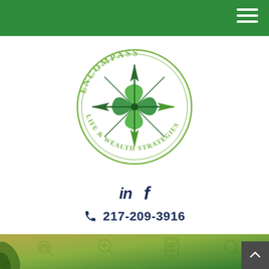[Figure (logo): Encompass Life & Wealth Strategies circular compass logo with green colors and text arcing around the compass rose]
in  f
217-209-3916
[Figure (photo): Bottom decorative banner with green gradient, plant leaves, and financial icons pattern overlay]